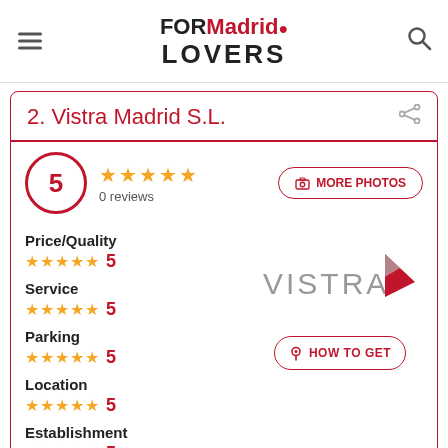FORMadrid LOVERS
2. Vistra Madrid S.L.
5 ★★★★★ 0 reviews
Price/Quality ★★★★★ 5
Service ★★★★★ 5
Parking ★★★★★ 5
Location ★★★★★ 5
Establishment ★★★★★ 5
[Figure (logo): Vistra company logo with wordmark and triangular geometric mark in red and grey]